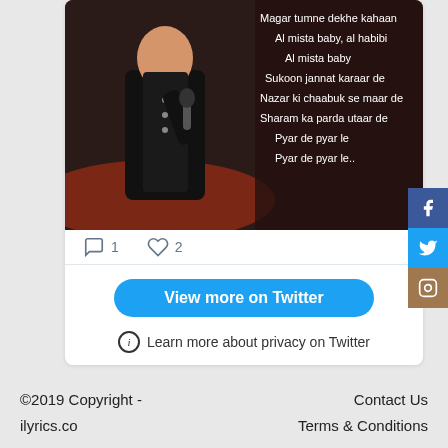[Figure (screenshot): Screenshot of a Twitter embed showing a performer singing on stage with Bollywood song lyrics overlaid on the right side of the image. Lyrics text reads: Magar tumne dekhe kahaan / Al mista baby, al habibi / Al mista baby / Sukoon jannat karaar de / Nazar ki chaabuk se maar de / Sharam ka parda utaar de / Pyar de pyar le / Pyar de pyar le..]
1   2
View more on Twitter
Learn more about privacy on Twitter
©2019 Copyright - ilyrics.co    Contact Us    Terms & Conditions